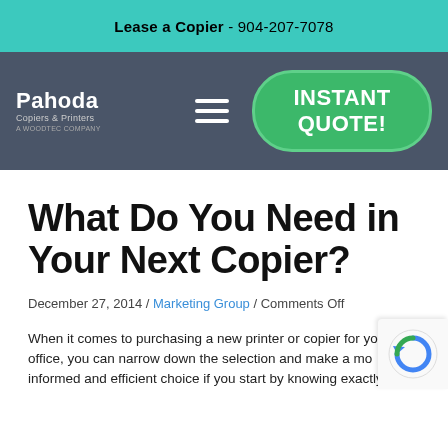Lease a Copier - 904-207-7078
[Figure (logo): Pahoda Copiers & Printers logo with navigation bar including hamburger menu and green Instant Quote button]
What Do You Need in Your Next Copier?
December 27, 2014 / Marketing Group / Comments Off
When it comes to purchasing a new printer or copier for your office, you can narrow down the selection and make a more informed and efficient choice if you start by knowing exactly what